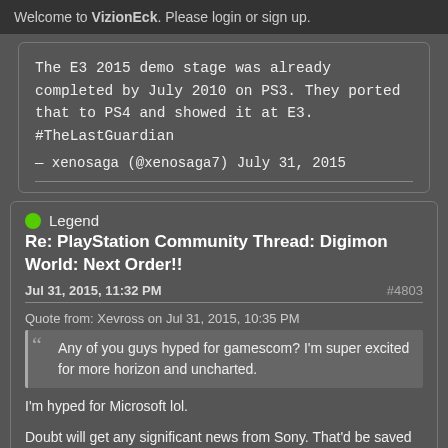Welcome to VizionEck. Please login or sign up.
The E3 2015 demo stage was already completed by July 2010 on PS3. They ported that to PS4 and showed it at E3. #TheLastGuardian
— xenosaga (@xenosaga7) July 31, 2015
Legend
Re: PlayStation Community Thread: Digimon World: Next Order!!
Jul 31, 2015, 11:32 PM
#4803
Quote from: Xevross on Jul 31, 2015, 10:35 PM
Any of you guys hyped for gamescom? I'm super excited for more horizon and uncharted.
I'm hyped for Microsoft lol.
Doubt will get any significant news from Sony. That'd be saved for Paris.